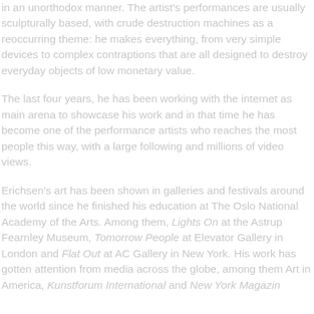in an unorthodox manner. The artist's performances are usually sculpturally based, with crude destruction machines as a reoccurring theme: he makes everything, from very simple devices to complex contraptions that are all designed to destroy everyday objects of low monetary value.
The last four years, he has been working with the internet as main arena to showcase his work and in that time he has become one of the performance artists who reaches the most people this way, with a large following and millions of video views.
Erichsen's art has been shown in galleries and festivals around the world since he finished his education at The Oslo National Academy of the Arts. Among them, Lights On at the Astrup Fearnley Museum, Tomorrow People at Elevator Gallery in London and Flat Out at AC Gallery in New York. His work has gotten attention from media across the globe, among them Art in America, Kunstforum International and New York Magazine.